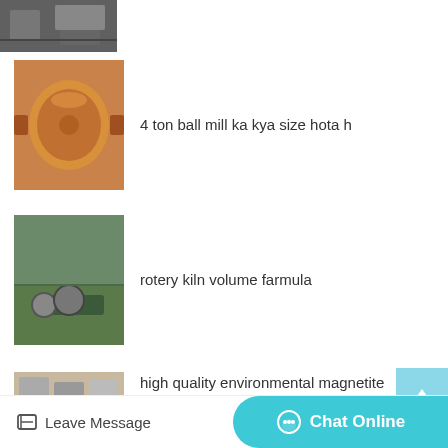[Figure (photo): Partial top photo of industrial machinery/truck, cropped at top of page]
[Figure (photo): Orange ball mill industrial equipment]
4 ton ball mill ka kya size hota h
[Figure (photo): Rotary kiln and industrial equipment at outdoor site]
rotery kiln volume farmula
[Figure (photo): High quality environmental magnetite dust catcher equipment]
high quality environmental magnetite dust catcher price in Durban
[Figure (photo): Low price soft rock linear vibrating screen]
low price soft rock linear vibrating screen price in Singapore City
Leave Message   Chat Online